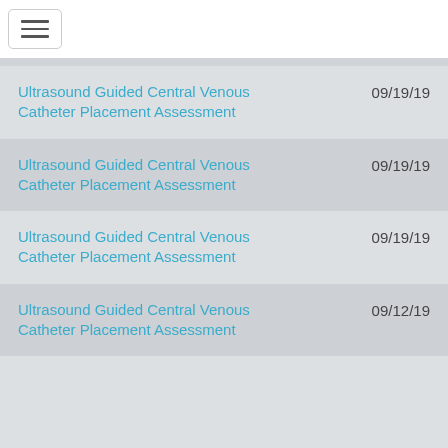Ultrasound Guided Central Venous Catheter Placement Assessment  09/19/19
Ultrasound Guided Central Venous Catheter Placement Assessment  09/19/19
Ultrasound Guided Central Venous Catheter Placement Assessment  09/19/19
Ultrasound Guided Central Venous Catheter Placement Assessment  09/12/19